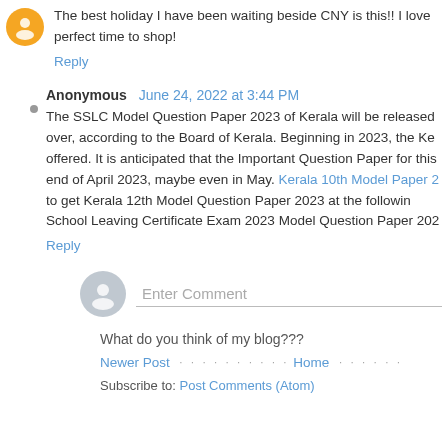The best holiday I have been waiting beside CNY is this!! I love perfect time to shop!
Reply
Anonymous June 24, 2022 at 3:44 PM
The SSLC Model Question Paper 2023 of Kerala will be released over, according to the Board of Kerala. Beginning in 2023, the Ke offered. It is anticipated that the Important Question Paper for this end of April 2023, maybe even in May. Kerala 10th Model Paper 2 to get Kerala 12th Model Question Paper 2023 at the followin School Leaving Certificate Exam 2023 Model Question Paper 202
Reply
Enter Comment
What do you think of my blog???
Newer Post
Home
Subscribe to: Post Comments (Atom)